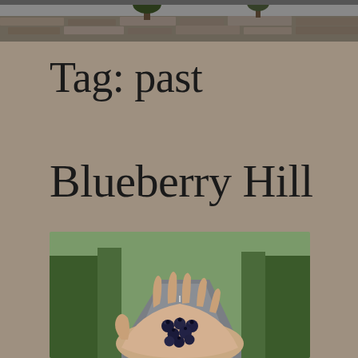[Figure (photo): Top strip photo showing a stone wall or rocky structure with trees in the background]
Tag: past
Blueberry Hill
[Figure (photo): A hand holding several fresh blueberries, with a rural road and green trees in the background]